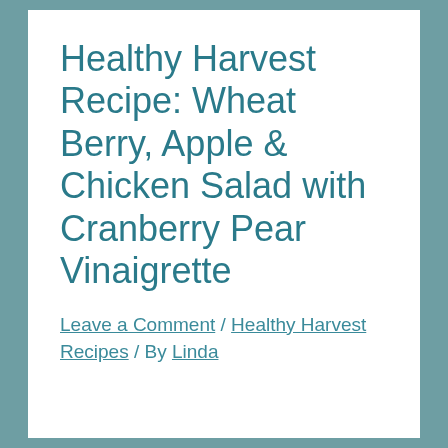Healthy Harvest Recipe: Wheat Berry, Apple & Chicken Salad with Cranberry Pear Vinaigrette
Leave a Comment / Healthy Harvest Recipes / By Linda